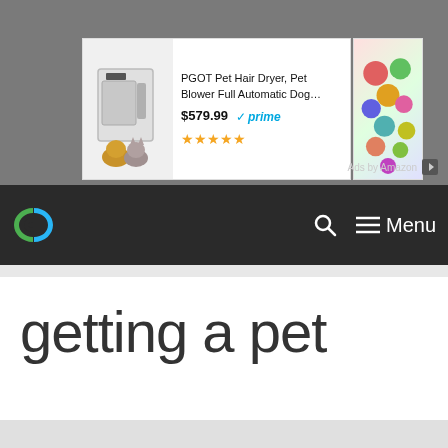[Figure (screenshot): Amazon advertisement banner showing PGOT Pet Hair Dryer product with price $579.99, Prime badge, and 4.5 star rating. A second partial ad card is visible on the right.]
≡ Menu (navigation bar with logo and search icon)
getting a pet